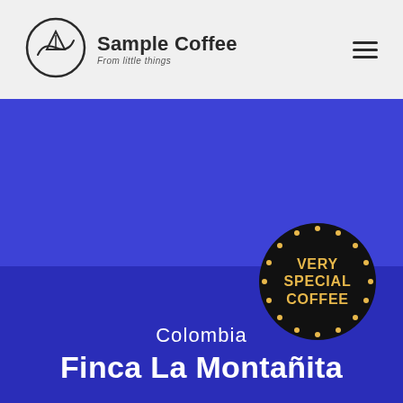Sample Coffee — From little things
[Figure (logo): Sample Coffee circular logo with mountain/wave icon, alongside text 'Sample Coffee' and tagline 'From little things']
[Figure (infographic): Dark circular badge with dotted gold border reading 'VERY SPECIAL COFFEE' in gold bold text on a blue background hero section]
Colombia
Finca La Montañita